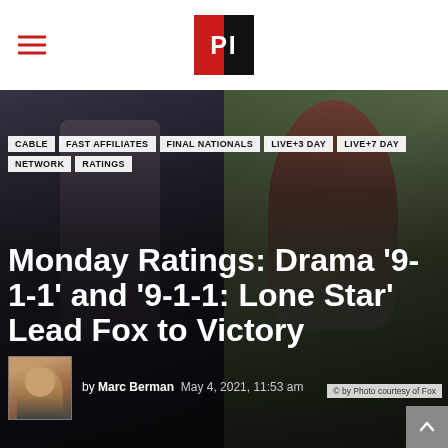PI (Programming Insider) logo with hamburger menu
CABLE
FAST AFFILIATES
FINAL NATIONALS
LIVE+3 DAY
LIVE+7 DAY
NETWORK
RATINGS
Monday Ratings: Drama '9-1-1' and '9-1-1: Lone Star' Lead Fox to Victory
by Marc Berman  May 4, 2021, 11:53 am
© by Photo courtesy of Fox
[Figure (photo): Split hero image showing two TV show scenes from 9-1-1 and 9-1-1: Lone Star]